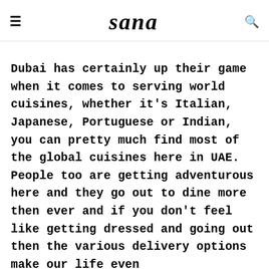sana
Dubai has certainly up their game when it comes to serving world cuisines, whether it's Italian, Japanese, Portuguese or Indian, you can pretty much find most of the global cuisines here in UAE. People too are getting adventurous here and they go out to dine more then ever and if you don't feel like getting dressed and going out then the various delivery options make our life even